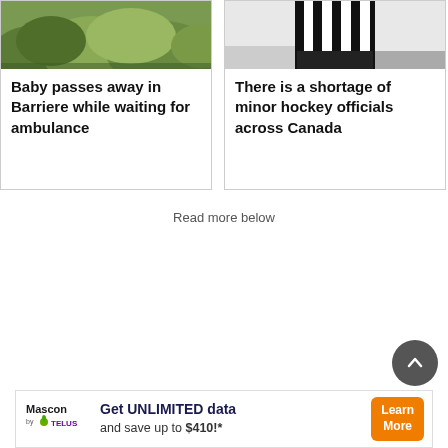[Figure (photo): Green shrubbery/bushes outdoor photo — top portion of left news card]
Baby passes away in Barriere while waiting for ambulance
[Figure (photo): Hockey referee in black and white striped shirt — top portion of right news card]
There is a shortage of minor hockey officials across Canada
Read more below
[Figure (other): Mascon by TELUS advertisement banner: Get UNLIMITED data and save up to $410!* Learn More]
Get UNLIMITED data and save up to $410!*